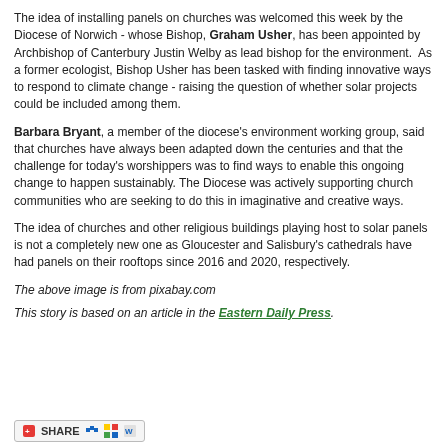The idea of installing panels on churches was welcomed this week by the Diocese of Norwich - whose Bishop, Graham Usher, has been appointed by Archbishop of Canterbury Justin Welby as lead bishop for the environment.  As a former ecologist, Bishop Usher has been tasked with finding innovative ways to respond to climate change - raising the question of whether solar projects could be included among them.
Barbara Bryant, a member of the diocese's environment working group, said that churches have always been adapted down the centuries and that the challenge for today's worshippers was to find ways to enable this ongoing change to happen sustainably. The Diocese was actively supporting church communities who are seeking to do this in imaginative and creative ways.
The idea of churches and other religious buildings playing host to solar panels is not a completely new one as Gloucester and Salisbury's cathedrals have had panels on their rooftops since 2016 and 2020, respectively.
The above image is from pixabay.com
This story is based on an article in the Eastern Daily Press.